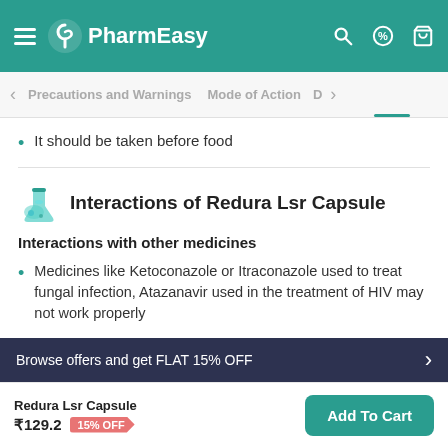PharmEasy
Precautions and Warnings  Mode of Action
It should be taken before food
Interactions of Redura Lsr Capsule
Interactions with other medicines
Medicines like Ketoconazole or Itraconazole used to treat fungal infection, Atazanavir used in the treatment of HIV may not work properly
Medicines used to neutralize gastric acids & to treat ulcer-like
Browse offers and get FLAT 15% OFF
Redura Lsr Capsule ₹129.2  15% OFF